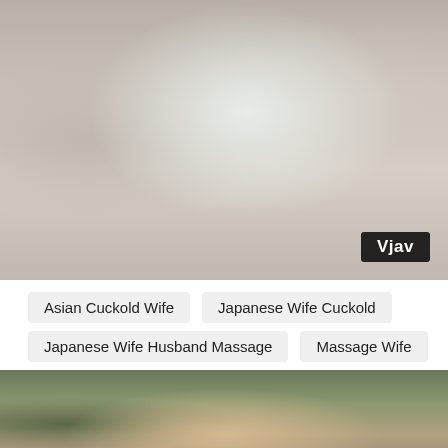[Figure (photo): Screenshot of a video thumbnail showing people near a door, with a 'Vjav' watermark badge in the bottom right corner]
Asian Cuckold Wife
Japanese Wife Cuckold
Japanese Wife Husband Massage
Massage Wife
[Figure (photo): Partial thumbnail showing a person with light brown hair against a dark background]